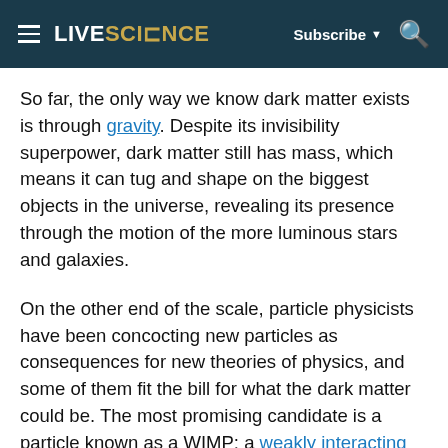LIVESCIENCE | Subscribe | Search
So far, the only way we know dark matter exists is through gravity. Despite its invisibility superpower, dark matter still has mass, which means it can tug and shape on the biggest objects in the universe, revealing its presence through the motion of the more luminous stars and galaxies.
On the other end of the scale, particle physicists have been concocting new particles as consequences for new theories of physics, and some of them fit the bill for what the dark matter could be. The most promising candidate is a particle known as a WIMP: a weakly interacting massive particle.
The "weakly interacting" part doesn't just mean the